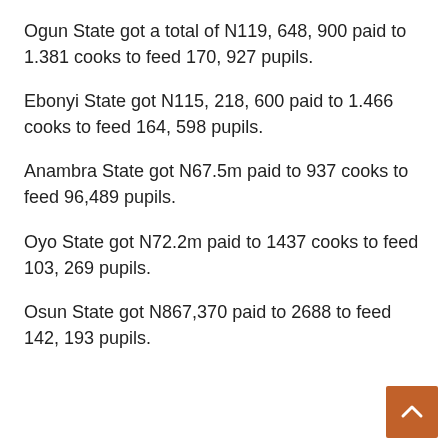Ogun State got a total of N119, 648, 900 paid to 1.381 cooks to feed 170, 927 pupils.
Ebonyi State got N115, 218, 600 paid to 1.466 cooks to feed 164, 598 pupils.
Anambra State got N67.5m paid to 937 cooks to feed 96,489 pupils.
Oyo State got N72.2m paid to 1437 cooks to feed 103, 269 pupils.
Osun State got N867,370 paid to 2688 to feed 142, 193 pupils.